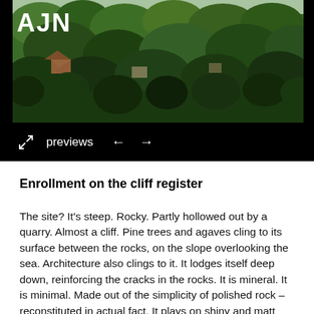[Figure (photo): Aerial or hillside photograph of dense tree canopy (pine and other trees) with rooftops and buildings partially visible among the greenery. Logo 'AJN' overlaid in white bold text at top left.]
previews ← →
Enrollment on the cliff register
The site? It's steep. Rocky. Partly hollowed out by a quarry. Almost a cliff. Pine trees and agaves cling to its surface between the rocks, on the slope overlooking the sea. Architecture also clings to it. It lodges itself deep down, reinforcing the cracks in the rocks. It is mineral. It is minimal. Made out of the simplicity of polished rock – reconstituted in actual fact. It plays on shiny and matt